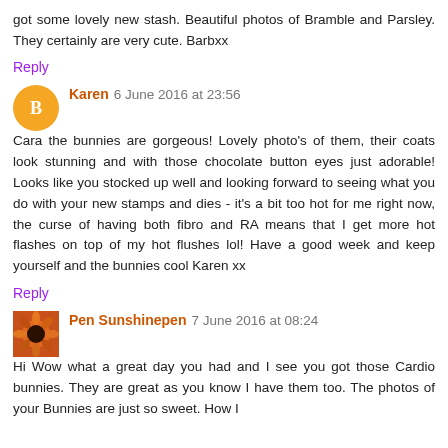got some lovely new stash. Beautiful photos of Bramble and Parsley. They certainly are very cute. Barbxx
Reply
Karen 6 June 2016 at 23:56
Cara the bunnies are gorgeous! Lovely photo's of them, their coats look stunning and with those chocolate button eyes just adorable! Looks like you stocked up well and looking forward to seeing what you do with your new stamps and dies - it's a bit too hot for me right now, the curse of having both fibro and RA means that I get more hot flashes on top of my hot flushes lol! Have a good week and keep yourself and the bunnies cool Karen xx
Reply
Pen Sunshinepen 7 June 2016 at 08:24
Hi Wow what a great day you had and I see you got those Cardio bunnies. They are great as you know I have them too. The photos of your Bunnies are just so sweet. How I...